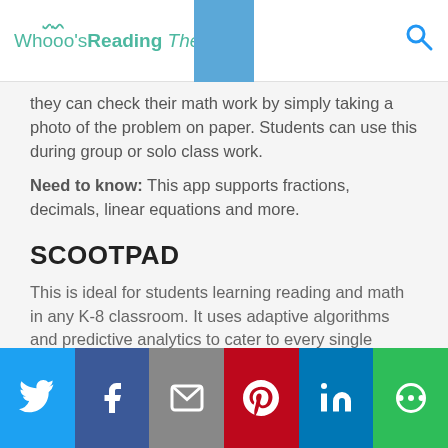Whooo's Reading The Blog
they can check their math work by simply taking a photo of the problem on paper. Students can use this during group or solo class work.
Need to know: This app supports fractions, decimals, linear equations and more.
SCOOTPAD
This is ideal for students learning reading and math in any K-8 classroom. It uses adaptive algorithms and predictive analytics to cater to every single students' learning preferences.
Social share bar: Twitter, Facebook, Email, Pinterest, LinkedIn, More